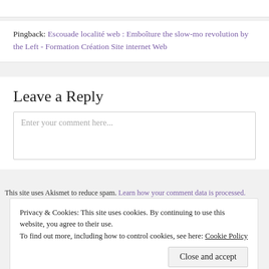Pingback: Escouade localité web : Emboîture the slow-mo revolution by the Left - Formation Création Site internet Web
Leave a Reply
[Figure (screenshot): Comment text area with placeholder text 'Enter your comment here...']
This site uses Akismet to reduce spam. Learn how your comment data is processed.
Privacy & Cookies: This site uses cookies. By continuing to use this website, you agree to their use.
To find out more, including how to control cookies, see here: Cookie Policy
Close and accept